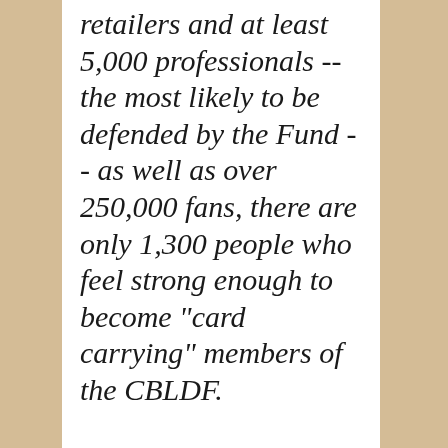retailers and at least 5,000 professionals -- the most likely to be defended by the Fund -- as well as over 250,000 fans, there are only 1,300 people who feel strong enough to become "card carrying" members of the CBLDF.